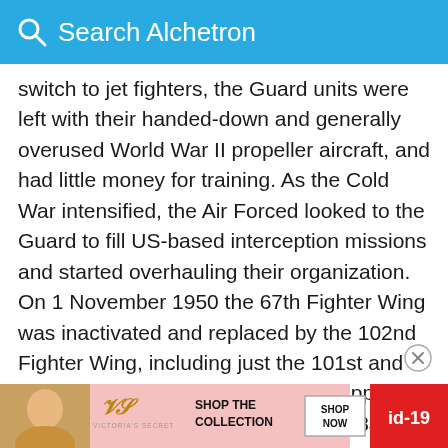Search Alchetron
switch to jet fighters, the Guard units were left with their handed-down and generally overused World War II propeller aircraft, and had little money for training. As the Cold War intensified, the Air Forced looked to the Guard to fill US-based interception missions and started overhauling their organization. On 1 November 1950 the 67th Fighter Wing was inactivated and replaced by the 102nd Fighter Wing, including just the 101st and 131st along with their associated support units. The squadrons were issued F-84B Thunderjets, but these aircraft were recalled and replaced by F-51 Mustangs which were [partially obscured] replac[ed]
[Figure (screenshot): Victoria's Secret advertisement banner at the bottom of the page with a model photo, VS logo, 'SHOP THE COLLECTION' text, 'SHOP NOW' button, and 'id-19' badge in red]